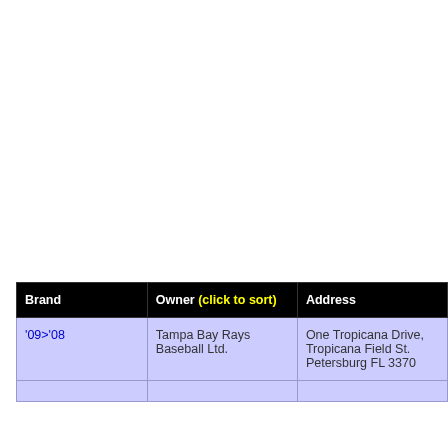| Brand | Owner (click to sort) | Address |
| --- | --- | --- |
| '09>'08 | Tampa Bay Rays Baseball Ltd. | One Tropicana Drive, Tropicana Field St. Petersburg FL 3370... |